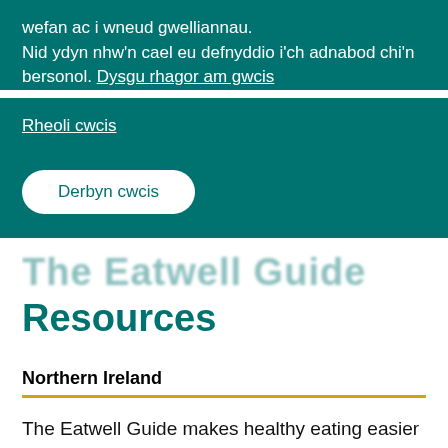wefan ac i wneud gwelliannau.
Nid ydyn nhw'n cael eu defnyddio i'ch adnabod chi'n bersonol. Dysgu rhagor am gwcis
Rheoli cwcis
Derbyn cwcis
Resources
Northern Ireland
The Eatwell Guide makes healthy eating easier to understand by giving a visual representation of the types of foods and drinks we should consume and in what proportions to have a healthy, balanced diet